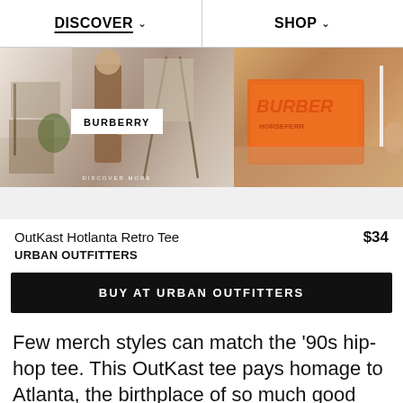DISCOVER  SHOP
[Figure (photo): Hero banner showing two images: left side shows a woman in a brown coat in an art studio setting with a white overlay box labeled BURBERRY; right side shows an orange Burberry branded bag/box with BURBERRY text in orange and HORSEFERRY text.]
OutKast Hotlanta Retro Tee   $34
URBAN OUTFITTERS
BUY AT URBAN OUTFITTERS
Few merch styles can match the '90s hip-hop tee. This OutKast tee pays homage to Atlanta, the birthplace of so much good music.